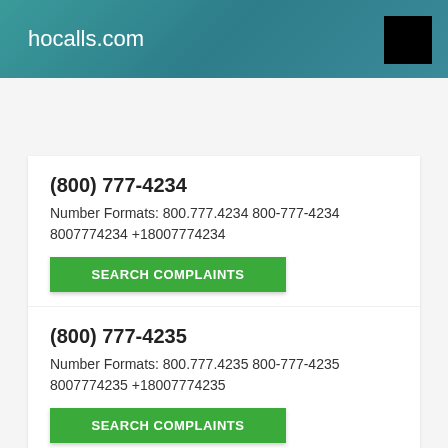hocalls.com
(800) 777-4234
Number Formats: 800.777.4234 800-777-4234 8007774234 +18007774234
SEARCH COMPLAINTS
(800) 777-4235
Number Formats: 800.777.4235 800-777-4235 8007774235 +18007774235
SEARCH COMPLAINTS
(800) 777-4236
Number Formats: 800.777.4236 800-777-4236 8007774236 +18007774236
SEARCH COMPLAINTS